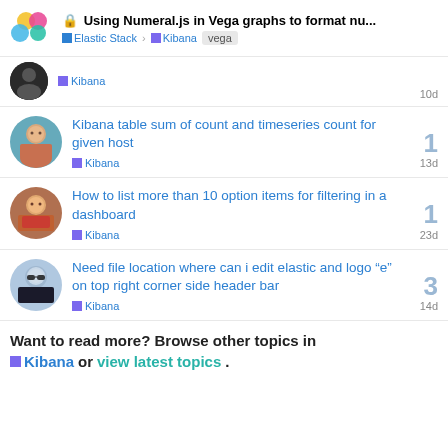🔒 Using Numeral.js in Vega graphs to format nu... | Elastic Stack › Kibana vega
Kibana — 10d
Kibana table sum of count and timeseries count for given host — Kibana — 13d — 1 reply
How to list more than 10 option items for filtering in a dashboard — Kibana — 23d — 1 reply
Need file location where can i edit elastic and logo "e" on top right corner side header bar — Kibana — 14d — 3 replies
Want to read more? Browse other topics in Kibana or view latest topics.